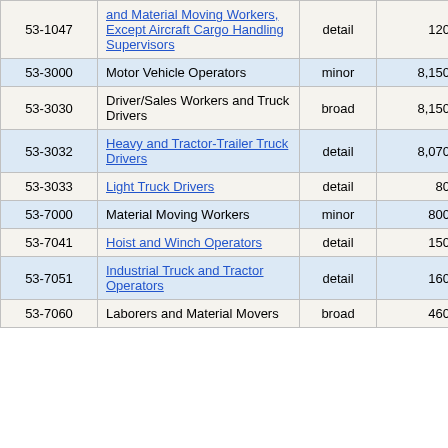| Code | Occupation | Level | Employment | Pct |
| --- | --- | --- | --- | --- |
| 53-1047 | and Material Moving Workers, Except Aircraft Cargo Handling Supervisors | detail | 120 | 17.7% |
| 53-3000 | Motor Vehicle Operators | minor | 8,150 | 2.7% |
| 53-3030 | Driver/Sales Workers and Truck Drivers | broad | 8,150 | 2.7% |
| 53-3032 | Heavy and Tractor-Trailer Truck Drivers | detail | 8,070 | 2.8% |
| 53-3033 | Light Truck Drivers | detail | 80 | 47.7% |
| 53-7000 | Material Moving Workers | minor | 800 | 8.2% |
| 53-7041 | Hoist and Winch Operators | detail | 150 | 20.4% |
| 53-7051 | Industrial Truck and Tractor Operators | detail | 160 | 23.8% |
| 53-7060 | Laborers and Material Movers | broad | 460 | 10.6% |